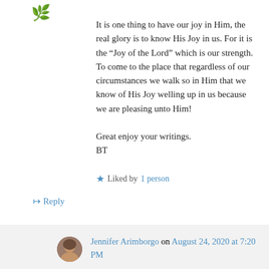[Figure (illustration): Small decorative icon/avatar at top left of comment]
It is one thing to have our joy in Him, the real glory is to know His Joy in us. For it is the “Joy of the Lord” which is our strength. To come to the place that regardless of our circumstances we walk so in Him that we know of His Joy welling up in us because we are pleasing unto Him!

Great enjoy your writings.
BT
★ Liked by 1 person
↦ Reply
Jennifer Arimborgo on August 24, 2020 at 7:20 PM